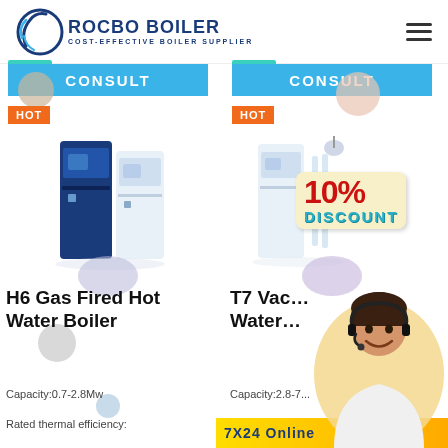[Figure (logo): Rocbo Boiler logo with blue arc/crescent graphic and text 'ROCBO BOILER / COST-EFFECTIVE BOILER SUPPLIER']
[Figure (photo): H6 Gas Fired Hot Water Boiler product photo showing white and blue floor-standing boiler units]
CONSULT
HOT
H6 Gas Fired Hot Water Boiler
Capacity:0.7-2.8Mw
Rated thermal efficiency:
[Figure (photo): T7 Vacuum Hot Water Boiler product photo with 10% DISCOUNT badge overlay]
CONSULT
HOT
T7 Vacuum Hot Water Boiler
Capacity:2.8-7...
Rated the...
[Figure (photo): Customer service representative with headset smiling]
7X24 Online